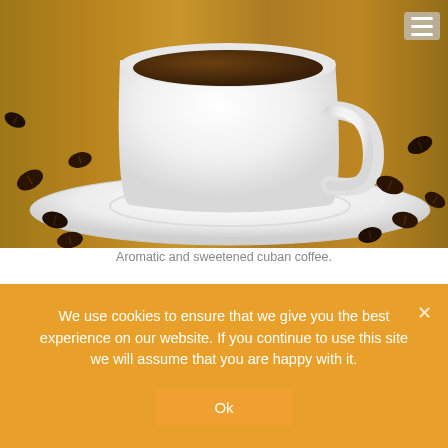[Figure (photo): Close-up photo of a white coffee cup on a saucer surrounded by coffee beans on a wooden surface]
Aromatic and sweetened cuban coffee.
Coffee in Turkey
Turkish coffee is something you'll never forget. It's usually quite strong, quite hot, and can be quite sweet if you want it to be. Türk Kahvesi, as it's called, is prepared with very fine ground beans, which are not filtered out when the coffee is poured. The beans, ground to a fine powder, and the sugar
We use cookies to ensure that we give you the best experience on our website. If you continue to use this site we will assume that you are happy with it.